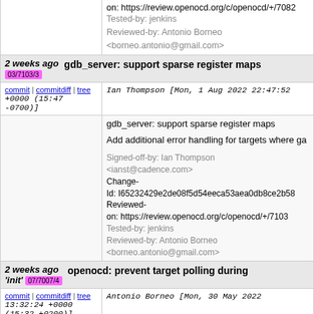on: https://review.openocd.org/c/openocd/+/7082
Tested-by: jenkins
Reviewed-by: Antonio Borneo <borneo.antonio@gmail.com>
2 weeks ago   gdb_server: support sparse register maps   03/7103/3
commit | commitdiff | tree   Ian Thompson [Mon, 1 Aug 2022 22:47:52 +0000 (15:47 -0700)]
gdb_server: support sparse register maps

Add additional error handling for targets where ga

Signed-off-by: Ian Thompson <ianst@cadence.com>
Change-Id: I65232429e2de08f5d54eeca53aea0db8ce2b58
Reviewed-on: https://review.openocd.org/c/openocd/+/7103
Tested-by: jenkins
Reviewed-by: Antonio Borneo <borneo.antonio@gmail.com>
2 weeks ago   openocd: prevent target polling during 'init'   07/7007/4
commit | commitdiff | tree   Antonio Borneo [Mon, 30 May 2022 13:32:24 +0000 (15:32 +0200)]